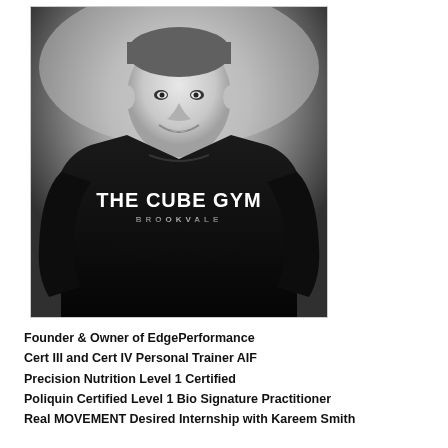[Figure (photo): Black and white portrait photograph of a muscular male fitness trainer smiling, wearing a black t-shirt that reads 'THE CUBE GYM BROOKVALE']
Founder & Owner of EdgePerformance
Cert III and Cert IV Personal Trainer AIF
Precision Nutrition Level 1 Certified
Poliquin Certified Level 1 Bio Signature Practitioner
Real MOVEMENT Desired Internship with Kareem Smith